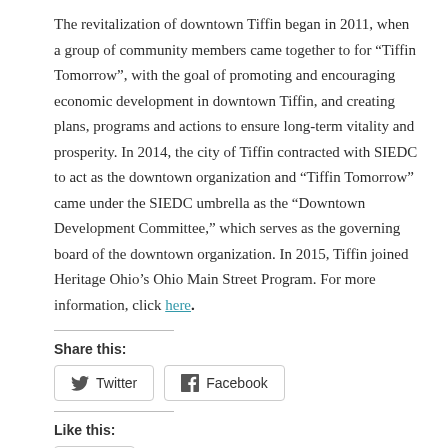The revitalization of downtown Tiffin began in 2011, when a group of community members came together to for “Tiffin Tomorrow”, with the goal of promoting and encouraging economic development in downtown Tiffin, and creating plans, programs and actions to ensure long-term vitality and prosperity. In 2014, the city of Tiffin contracted with SIEDC to act as the downtown organization and “Tiffin Tomorrow” came under the SIEDC umbrella as the “Downtown Development Committee,” which serves as the governing board of the downtown organization. In 2015, Tiffin joined Heritage Ohio’s Ohio Main Street Program. For more information, click here.
Share this:
[Figure (other): Twitter and Facebook share buttons]
Like this:
[Figure (other): Like button]
Be the first to like this.